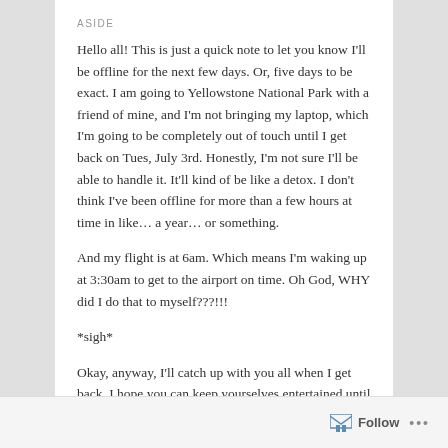ASIDE
Hello all! This is just a quick note to let you know I'll be offline for the next few days.  Or, five days to be exact.  I am going to Yellowstone National Park with a friend of mine, and I'm not bringing my laptop, which I'm going to be completely out of touch until I get back on Tues, July 3rd.  Honestly, I'm not sure I'll be able to handle it. It'll kind of be like a detox.  I don't think I've been offline for more than a few hours at time in like… a year… or something.
And my flight is at 6am. Which means I'm waking up at 3:30am to get to the airport on time. Oh God, WHY did I do that to myself???!!!
*sigh*
Okay, anyway, I'll catch up with you all when I get back.  I hope you can keep yourselves entertained until then. 😀
Follow ...